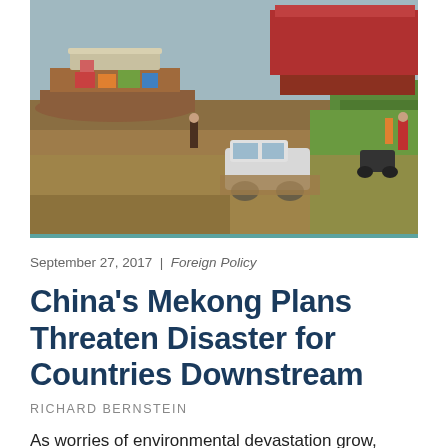[Figure (photo): Aerial/ground-level view of a flooded area near the Mekong River showing boats loaded with goods, a white pickup truck partially submerged in brown floodwater, motorcycles, and people on the muddy bank with green vegetation on the right side.]
September 27, 2017  |  Foreign Policy
China's Mekong Plans Threaten Disaster for Countries Downstream
RICHARD BERNSTEIN
As worries of environmental devastation grow,